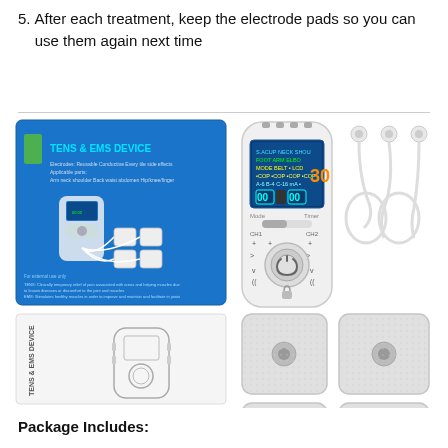5. After each treatment, keep the electrode pads so you can use them again next time
[Figure (photo): Product photo showing TENS & EMS Device package box (blue), the handheld TENS/EMS unit with color LCD display and control buttons, two sets of lead wires with electrode snap connectors, a user manual booklet labeled TENS & EMS DEVICE, and four square electrode pads with snap connectors.]
Package Includes: